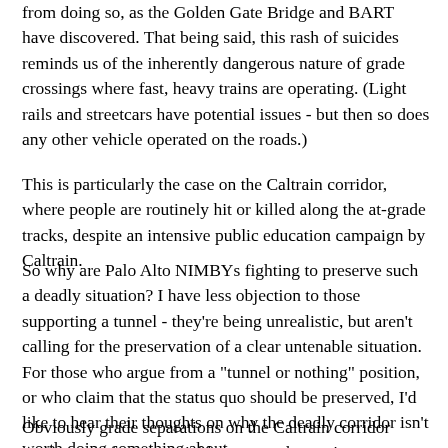from doing so, as the Golden Gate Bridge and BART have discovered. That being said, this rash of suicides reminds us of the inherently dangerous nature of grade crossings where fast, heavy trains are operating. (Light rails and streetcars have potential issues - but then so does any other vehicle operated on the roads.)
This is particularly the case on the Caltrain corridor, where people are routinely hit or killed along the at-grade tracks, despite an intensive public education campaign by Caltrain.
So why are Palo Alto NIMBYs fighting to preserve such a deadly situation? I have less objection to those supporting a tunnel - they're being unrealistic, but aren't calling for the preservation of a clear untenable situation. For those who argue from a "tunnel or nothing" position, or who claim that the status quo should be preserved, I'd like to hear their thoughts on why the deadly corridor isn't worth doing something about.
Obviously grade separations on the Caltrain corridor aren't a cure for teen suicide, nor are they going to ensure that there is never a deadly accident of any kind ever again in Palo...